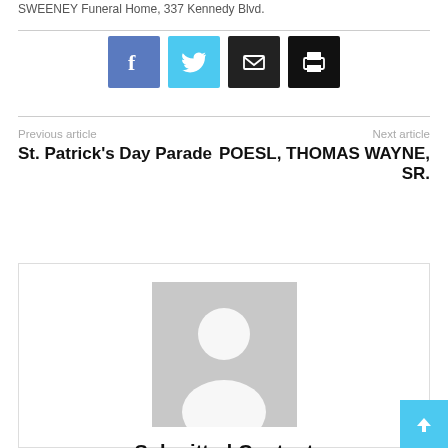SWEENEY Funeral Home, 337 Kennedy Blvd.
[Figure (infographic): Social sharing buttons: Facebook (blue), Twitter (light blue), Email (black), Print (black)]
Previous article
St. Patrick's Day Parade
Next article
POESL, THOMAS WAYNE, SR.
[Figure (photo): Generic user avatar placeholder image - gray silhouette of a person on light gray background]
Submitted Content